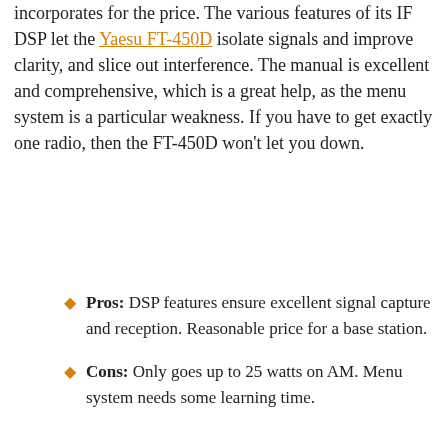incorporates for the price. The various features of its IF DSP let the Yaesu FT-450D isolate signals and improve clarity, and slice out interference. The manual is excellent and comprehensive, which is a great help, as the menu system is a particular weakness. If you have to get exactly one radio, then the FT-450D won't let you down.
Pros: DSP features ensure excellent signal capture and reception. Reasonable price for a base station.
Cons: Only goes up to 25 watts on AM. Menu system needs some learning time.